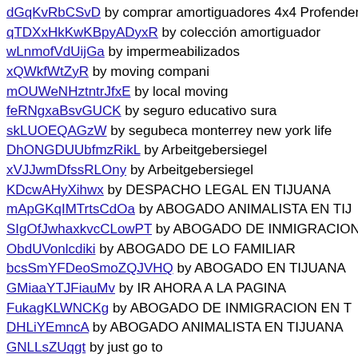dGqKvRbCSvD by comprar amortiguadores 4x4 Profender Es
qTDXxHkKwKBpyADyxR by colección amortiguador
wLnmofVdUijGa by impermeabilizados
xQWkfWtZyR by moving compani
mOUWeNHztntrJfxE by local moving
feRNgxaBsvGUCK by seguro educativo sura
skLUOEQAGzW by segubeca monterrey new york life
DhONGDUUbfmzRikL by Arbeitgebersiegel
xVJJwmDfssRLOny by Arbeitgebersiegel
KDcwAHyXihwx by DESPACHO LEGAL EN TIJUANA
mApGKqIMTrtsCdOa by ABOGADO ANIMALISTA EN TIJ
SIgOfJwhaxkvcCLowPT by ABOGADO DE INMIGRACION
ObdUVonlcdiki by ABOGADO DE LO FAMILIAR
bcsSmYFDeoSmoZQJVHQ by ABOGADO EN TIJUANA
GMiaaYTJFiauMv by IR AHORA A LA PAGINA
FukagKLWNCKg by ABOGADO DE INMIGRACION EN T
DHLiYEmncA by ABOGADO ANIMALISTA EN TIJUANA
GNLLsZUqgt by just go to
aohWomHuJtJRD by have a look at
KQeAWLfDfVfDgQWG by Irena Markovic
tMsGSKHZikLnkH by sexpuppen kaufen